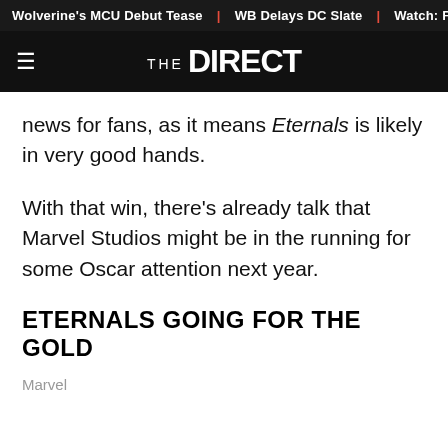Wolverine's MCU Debut Tease | WB Delays DC Slate | Watch: First
THE DIRECT
news for fans, as it means Eternals is likely in very good hands.
With that win, there's already talk that Marvel Studios might be in the running for some Oscar attention next year.
ETERNALS GOING FOR THE GOLD
Marvel